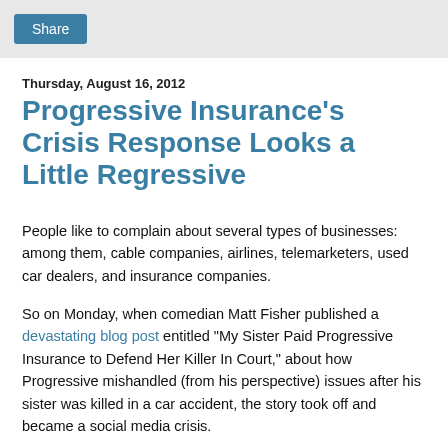Share
Thursday, August 16, 2012
Progressive Insurance's Crisis Response Looks a Little Regressive
People like to complain about several types of businesses: among them, cable companies, airlines, telemarketers, used car dealers, and insurance companies.
So on Monday, when comedian Matt Fisher published a devastating blog post entitled "My Sister Paid Progressive Insurance to Defend Her Killer In Court," about how Progressive mishandled (from his perspective) issues after his sister was killed in a car accident, the story took off and became a social media crisis.
From a crisis communications perspective, Progressive also